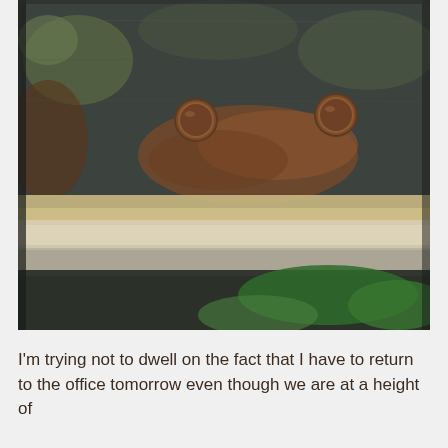[Figure (photo): Close-up photograph of camouflage fabric/textile showing a pattern with dark grey/green, brown, tan/cream horizontal stripes and two copper/brown circular button studs near the upper middle area.]
I'm trying not to dwell on the fact that I have to return to the office tomorrow even though we are at a height of